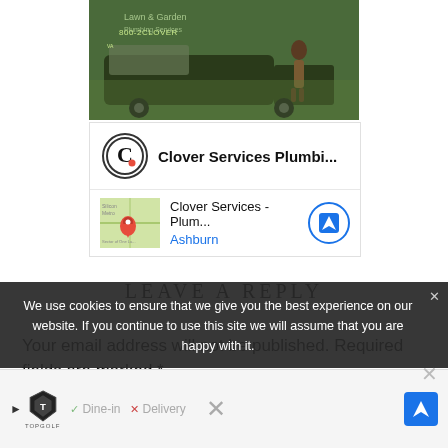[Figure (photo): Photo of a green Clover Services plumbing van with a person standing next to it, viewed from the side.]
[Figure (screenshot): Google search result card showing Clover Services Plumbing logo and name at top, and a map thumbnail with location 'Ashburn' and navigation button below.]
LEAVE A REPLY
Your email address will not be published. Required fields are marked *
We use cookies to ensure that we give you the best experience on our website. If you continue to use this site we will assume that you are happy with it.
[Figure (screenshot): Bottom advertisement bar for Topgolf showing Dine-in and Delivery options with a navigation arrow icon.]